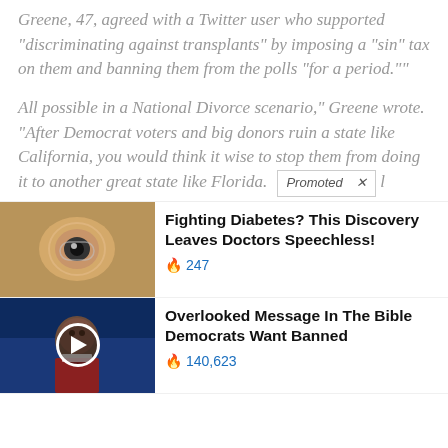Greene, 47, agreed with a Twitter user who supported “discriminating against transplants” by imposing a “sin” tax on them and banning them from the polls “for a period.””
All possible in a National Divorce scenario,” Greene wrote. “After Democrat voters and big donors ruin a state like California, you would think it wise to stop them from doing it to another great state like Florida. [Promoted ×]
[Figure (photo): Close-up photo of a human eye or skin lesion advertisement thumbnail for diabetes product]
Fighting Diabetes? This Discovery Leaves Doctors Speechless!
🔥 247
[Figure (photo): Video thumbnail of a man in a suit with a play button overlay, dark blue background]
Overlooked Message In The Bible Democrats Want Banned
🔥 140,623